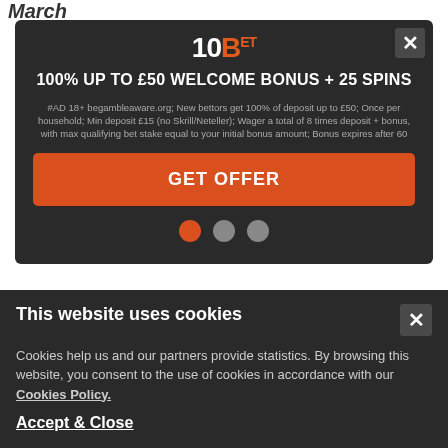March
[Figure (screenshot): 10Bet advertising modal with logo, headline '100% UP TO £50 WELCOME BONUS + 25 SPINS', terms text, orange GET OFFER button, and navigation dots]
2016 Horse Racing Results
December
28th   7th   1st
This website uses cookies
Cookies help us and our partners provide statistics. By browsing this website, you consent to the use of cookies in accordance with our Cookies Policy.
Accept & Close